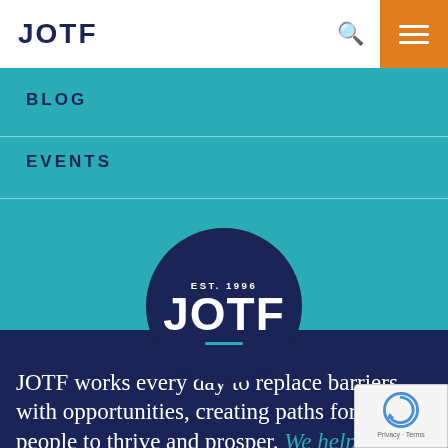JOTF
BLOG
EVENTS
[Figure (logo): JOTF circular logo with EST. 1996 text above JOTF on dark navy background with teal underline]
JOTF works every day to replace barriers with opportunities, creating paths for people to thrive and prosper. We help